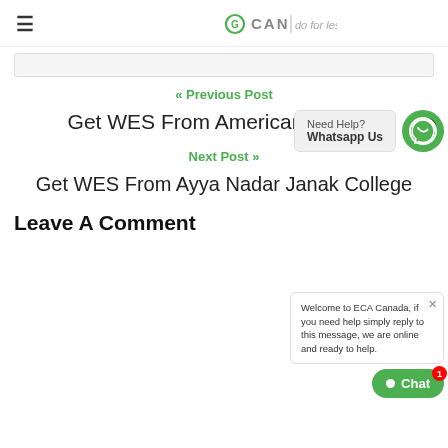≡  GCAN | do for less
[Figure (screenshot): Search bar area]
[Figure (infographic): WhatsApp help popup with green WhatsApp icon button, text: Need Help? Whatsapp Us]
« Previous Post
Get WES From American College
Next Post »
Get WES From Ayya Nadar Janak College
Leave A Comment
[Figure (screenshot): Chat popup: Welcome to ECA Canada, if you need help simply reply to this message, we are online and ready to help. Chat button with badge 1]